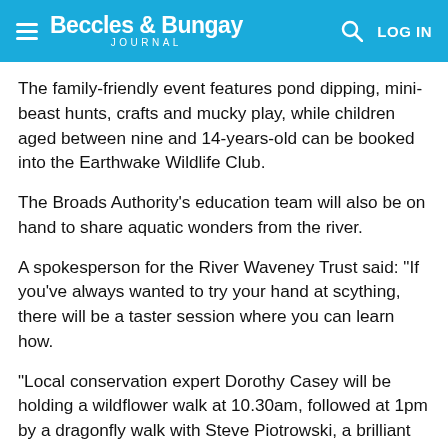Beccles & Bungay Journal
The family-friendly event features pond dipping, mini-beast hunts, crafts and mucky play, while children aged between nine and 14-years-old can be booked into the Earthwake Wildlife Club.
The Broads Authority's education team will also be on hand to share aquatic wonders from the river.
A spokesperson for the River Waveney Trust said: "If you've always wanted to try your hand at scything, there will be a taster session where you can learn how.
"Local conservation expert Dorothy Casey will be holding a wildflower walk at 10.30am, followed at 1pm by a dragonfly walk with Steve Piotrowski, a brilliant naturalist, birder and contributor to the National Dragonfly Atlas.